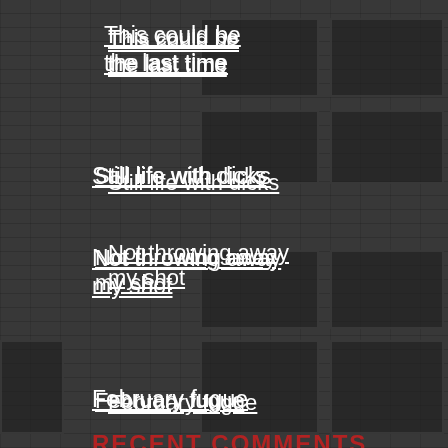This could be the last time
Still life with dicks
Not throwing away my shot
February fugue
RECENT COMMENTS
Paul Silverman on We don't need no stinking followers
Dave Knadler on We don't need no stinking followers
Dave Knadler on We don't need no stinking